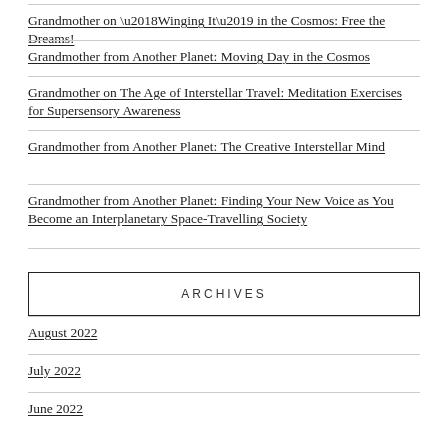Grandmother on ‘Winging It’ in the Cosmos: Free the Dreams!
Grandmother from Another Planet: Moving Day in the Cosmos
Grandmother on The Age of Interstellar Travel: Meditation Exercises for Supersensory Awareness
Grandmother from Another Planet: The Creative Interstellar Mind
Grandmother from Another Planet: Finding Your New Voice as You Become an Interplanetary Space-Travelling Society
ARCHIVES
August 2022
July 2022
June 2022